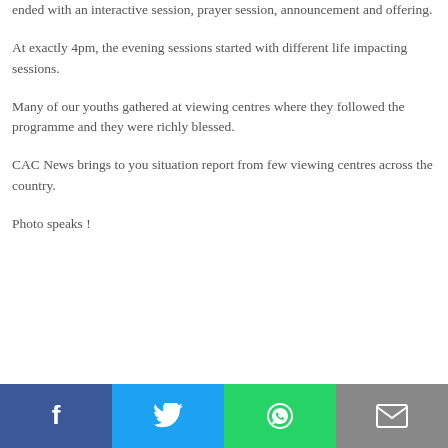ended with an interactive session, prayer session, announcement and offering.
At exactly 4pm, the evening sessions started with different life impacting sessions.
Many of our youths gathered at viewing centres where they followed the programme and they were richly blessed.
CAC News brings to you situation report from few viewing centres across the country.
Photo speaks !
[Figure (infographic): Social sharing bar with Facebook, Twitter, WhatsApp, and Email icons]